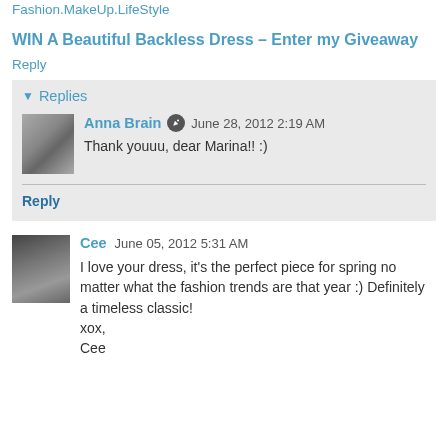Fashion.MakeUp.LifeStyle
WIN A Beautiful Backless Dress – Enter my Giveaway
Reply
Replies
Anna Brain  June 28, 2012 2:19 AM
Thank youuu, dear Marina!! :)
Reply
Cee  June 05, 2012 5:31 AM
I love your dress, it's the perfect piece for spring no matter what the fashion trends are that year :) Definitely a timeless classic!
xox,
Cee